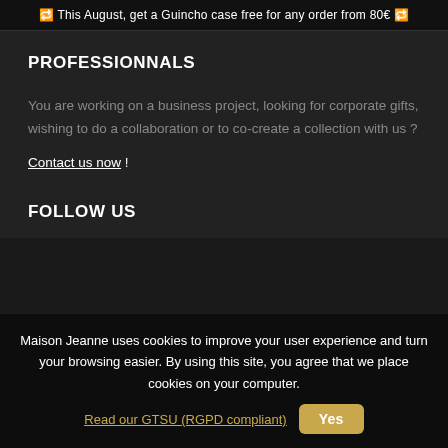🔁 This August, get a Guincho case free for any order from 80€ 🔁
PROFESSIONNALS
You are working on a business project, looking for corporate gifts, wishing to do a collaboration or to co-create a collection with us ?
Contact us now !
FOLLOW US
Maison Jeanne uses cookies to improve your user experience and turn your browsing easier. By using this site, you agree that we place cookies on your computer.
Read our GTSU (RGPD compliant)  Yes